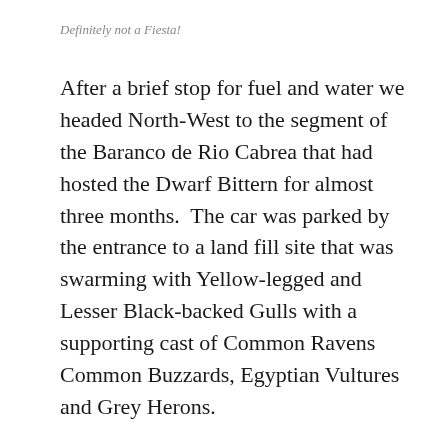Definitely not a Fiesta!
After a brief stop for fuel and water we headed North-West to the segment of the Baranco de Rio Cabrea that had hosted the Dwarf Bittern for almost three months.  The car was parked by the entrance to a land fill site that was swarming with Yellow-legged and Lesser Black-backed Gulls with a supporting cast of Common Ravens Common Buzzards, Egyptian Vultures and Grey Herons.